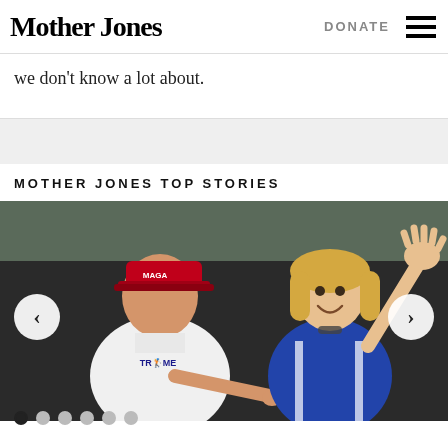Mother Jones | DONATE
we don't know a lot about.
MOTHER JONES TOP STORIES
[Figure (photo): Photo of a man in a white polo shirt and red MAGA cap pointing at a smiling blonde woman in a blue sleeveless top who is waving, set against a dark background. Carousel navigation arrows visible on left and right.]